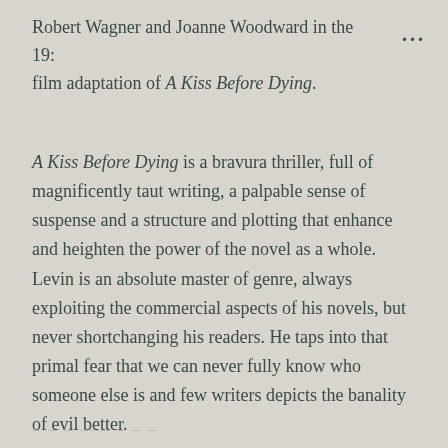Robert Wagner and Joanne Woodward in the 19: film adaptation of A Kiss Before Dying.
A Kiss Before Dying is a bravura thriller, full of magnificently taut writing, a palpable sense of suspense and a structure and plotting that enhance and heighten the power of the novel as a whole. Levin is an absolute master of genre, always exploiting the commercial aspects of his novels, but never shortchanging his readers. He taps into that primal fear that we can never fully know who someone else is and few writers depicts the banality of evil better.